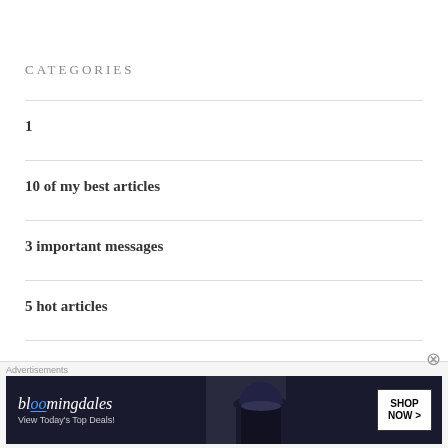CATEGORIES
1
10 of my best articles
3 important messages
5 hot articles
5 hot articles, the readers favorites
[Figure (other): Bloomingdale's advertisement banner with text 'View Today's Top Deals!' and 'SHOP NOW >' button, woman in wide-brim hat]